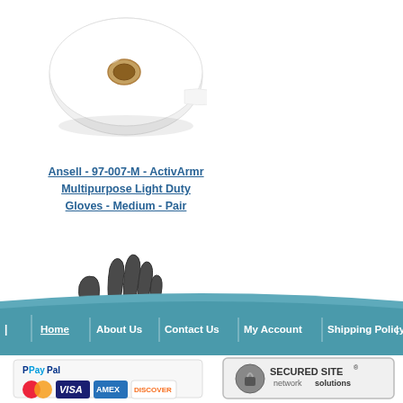[Figure (photo): White paper towel roll product photo on white background]
Ansell - 97-007-M - ActivArmr Multipurpose Light Duty Gloves - Medium - Pair
[Figure (photo): Dark gray and brown ActivArmr multipurpose work glove product photo]
[Figure (other): Navigation bar with teal curved background containing links: Home | About Us | Contact Us | My Account | Shipping Policy | Return P...]
[Figure (other): Footer with PayPal, MasterCard, VISA, American Express, Discover payment icons and Network Solutions Secured Site badge]